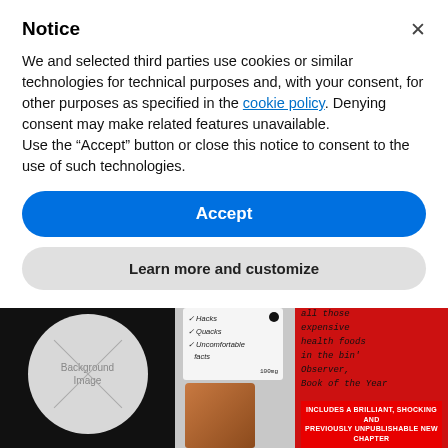Notice
We and selected third parties use cookies or similar technologies for technical purposes and, with your consent, for other purposes as specified in the cookie policy. Denying consent may make related features unavailable.
Use the “Accept” button or close this notice to consent to the use of such technologies.
Accept
Learn more and customize
[Figure (screenshot): Book cover partially visible at bottom of screen: dark background on left with circular placeholder image, middle section with a note listing 'Hacks, Quacks, Uncomfortable facts' on what appears to be a supplement bottle, red section on right with handwritten text 'all those expensive health foods in the bin, Observer, Book of the Year', and red banner at bottom reading 'INCLUDES A BRILLIANT, SHOCKING AND PREVIOUSLY UNPUBLISHABLE NEW CHAPTER']